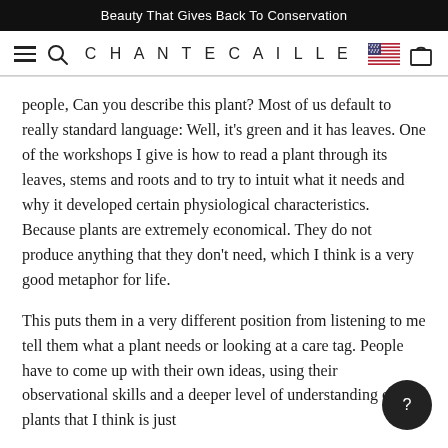Beauty That Gives Back To Conservation
[Figure (screenshot): Chantecaille website navigation bar with hamburger menu, search icon, brand name CHANTECAILLE, US flag icon, and shopping bag icon]
people, Can you describe this plant? Most of us default to really standard language: Well, it's green and it has leaves. One of the workshops I give is how to read a plant through its leaves, stems and roots and to try to intuit what it needs and why it developed certain physiological characteristics. Because plants are extremely economical. They do not produce anything that they don't need, which I think is a very good metaphor for life.
This puts them in a very different position from listening to me tell them what a plant needs or looking at a care tag. People have to come up with their own ideas, using their observational skills and a deeper level of understanding of plants that I think is just